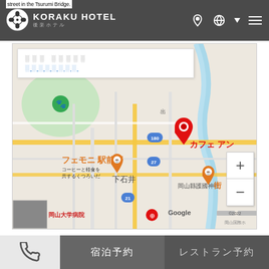street in the Tsurumi Bridge. KORAKU HOTEL 後楽ホテル
[Figure (map): Google map showing area around Okayama with location pin for カフェ アン (cafe), showing landmarks including 下石井, 岡山縣護國神社, 岡山大学病院, 岡山国際ホテル, フェモニ 駅前店, and streets. Map controls show zoom in/out buttons. Copyright ©2022.]
CoMA　The Cafe of Modern Apartment
宿泊予約　レストラン予約